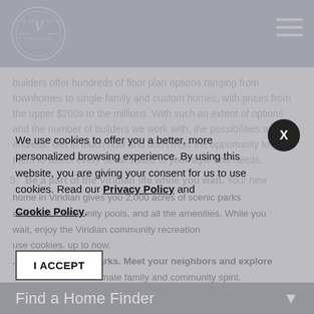Viridian - header with logo and navigation
builders offer hundreds of floor plan options ranging from townhomes to single-family and custom homes, with prices from the upper $200s to the millions. With such an extent of options and the number of builders we work with, the possibilities are truly endless. Get in touch now and don't miss the opportunity to get them to select every detail suited to your style and needs.
5. Be a part of the Viridian life while you wait. Your new home in Viridian gives you 2,000 acres of scenic parks...
We use cookies to offer you a better, more personalized browsing experience. By using this website, you are giving your consent for us to use cookies. Read our Privacy Policy and Cookie Policy.
I ACCEPT
Find a Home Finder